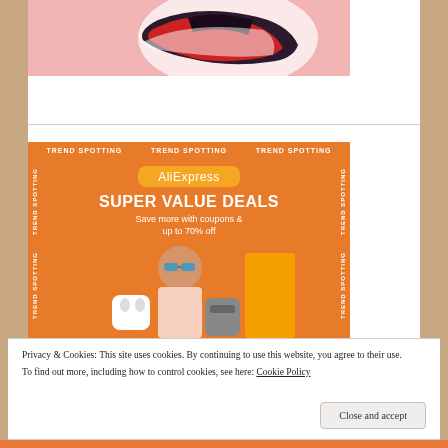[Figure (photo): Product image of a red and dark sneaker/shoe on a pink background]
[Figure (photo): AliExpress advertisement banner with orange background, 'TREND SPOTTING' repeated text borders, AliExpress logo, 'SUPER VALUE DEALS - Save more with coupons & up to 70% off' headline, woman with sunglasses, earbuds case, and shopping items]
Privacy & Cookies: This site uses cookies. By continuing to use this website, you agree to their use.
To find out more, including how to control cookies, see here: Cookie Policy
[Close and accept]